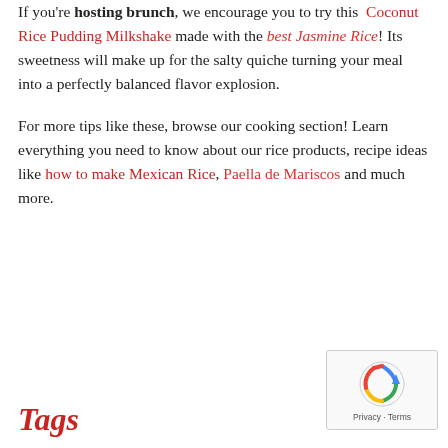If you're hosting brunch, we encourage you to try this Coconut Rice Pudding Milkshake made with the best Jasmine Rice! Its sweetness will make up for the salty quiche turning your meal into a perfectly balanced flavor explosion.
For more tips like these, browse our cooking section! Learn everything you need to know about our rice products, recipe ideas like how to make Mexican Rice, Paella de Mariscos and much more.
Tags